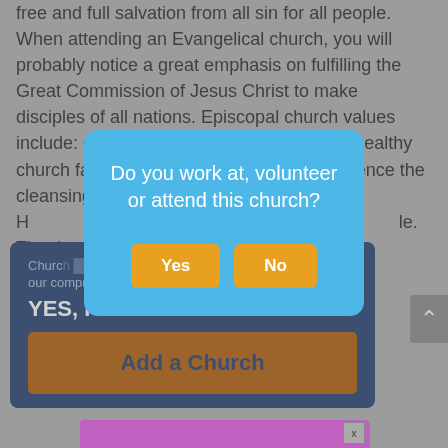free and full salvation from all sin for all people. When attending an Evangelical church, you will probably notice a great emphasis on fulfilling the Great Commission of Jesus Christ to make disciples of all nations. Episcopal church values include: engaging the harvest, providing a healthy church family, discipling believers to experience the cleansing and empowering of the H[oly Spirit, making disciples of all peop]le. Thanks[giving... ] church [link]
[Figure (screenshot): Modal dialog over a webpage asking 'Do you work at, volunteer or attend this church?' with Yes and No buttons in orange]
Church [add your church] to our comprehensive directory! YES, I WANT TO
Add a Church